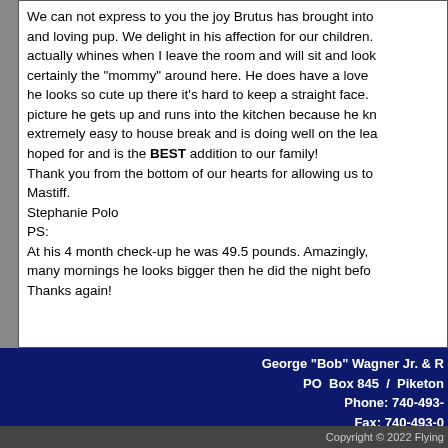We can not express to you the joy Brutus has brought into our lives. He is a happy and loving pup. We delight in his affection for our children. He actually whines when I leave the room and will sit and look for me. I am certainly the "mommy" around here. He does have a love for the couch and he looks so cute up there it's hard to keep a straight face. Whenever he hears his picture he gets up and runs into the kitchen because he knows treat time! He is extremely easy to house break and is doing well on the leash. He is everything we hoped for and is the BEST addition to our family! Thank you from the bottom of our hearts for allowing us to own a Flying W Mastiff. Stephanie Polo PS: At his 4 month check-up he was 49.5 pounds. Amazingly, many mornings he looks bigger then he did the night before. Thanks again!
George "Bob" Wagner Jr. & R... PO Box 845 / Piketon ... Phone: 740-493-... Fax: 740-493-0... flyingw@brigh... Copyright © 2022 Flying...